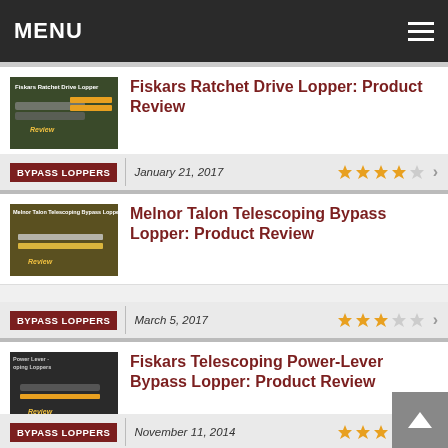MENU
Fiskars Ratchet Drive Lopper: Product Review
BYPASS LOPPERS | January 21, 2017 | ★★★★☆ >
Melnor Talon Telescoping Bypass Lopper: Product Review
BYPASS LOPPERS | March 5, 2017 | ★★★☆☆ >
Fiskars Telescoping Power-Lever Bypass Lopper: Product Review
BYPASS LOPPERS | November 11, 2014 | ★★★☆☆ >
Corona Convertible Pruner +